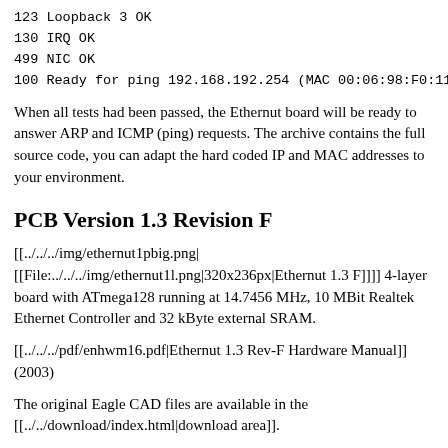123 Loopback 3 OK
130 IRQ OK
499 NIC OK
100 Ready for ping 192.168.192.254 (MAC 00:06:98:F0:11:23
When all tests had been passed, the Ethernut board will be ready to answer ARP and ICMP (ping) requests. The archive contains the full source code, you can adapt the hard coded IP and MAC addresses to your environment.
PCB Version 1.3 Revision F
[[../../../img/ethernut1pbig.png| [[File:../../../img/ethernut1l.png|320x236px|Ethernut 1.3 F]]]] 4-layer board with ATmega128 running at 14.7456 MHz, 10 MBit Realtek Ethernet Controller and 32 kByte external SRAM.
[[../../../pdf/enhwm16.pdf|Ethernut 1.3 Rev-F Hardware Manual]] (2003)
The original Eagle CAD files are available in the [[../../download/index.html|download area]].